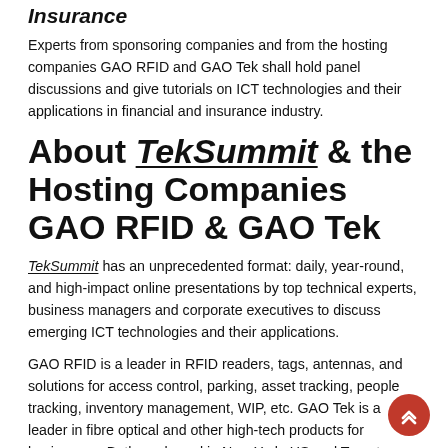Insurance
Experts from sponsoring companies and from the hosting companies GAO RFID and GAO Tek shall hold panel discussions and give tutorials on ICT technologies and their applications in financial and insurance industry.
About TekSummit & the Hosting Companies GAO RFID & GAO Tek
TekSummit has an unprecedented format: daily, year-round, and high-impact online presentations by top technical experts, business managers and corporate executives to discuss emerging ICT technologies and their applications.
GAO RFID is a leader in RFID readers, tags, antennas, and solutions for access control, parking, asset tracking, people tracking, inventory management, WIP, etc. GAO Tek is a leader in fibre optical and other high-tech products for businesses. Both are based in New York, US and Toronto,